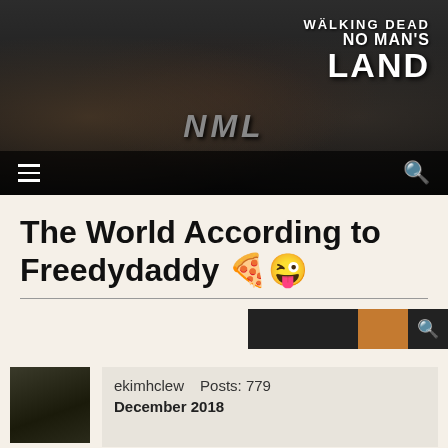[Figure (screenshot): Banner image for Walking Dead: No Man's Land mobile game, showing three characters against a dark background with 'NML' shield text and the game logo in the top right]
The World According to Freedydaddy 🍕😜
[Figure (screenshot): Search bar widget with dark and orange sections and a search icon]
ekimhclew   Posts: 779
December 2018